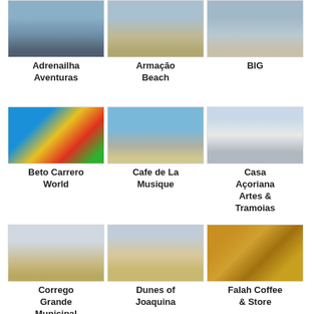[Figure (photo): Partial top photo - Adrenailha Aventuras]
Adrenailha Aventuras
[Figure (photo): Partial top photo - Armação Beach]
Armação Beach
[Figure (photo): Partial top photo - BIG]
BIG
[Figure (photo): Colorful temple - Beto Carrero World]
Beto Carrero World
[Figure (photo): Beach with boulders - Cafe de La Musique]
Cafe de La Musique
[Figure (photo): White colonial building - Casa Açoriana Artes & Tramoias]
Casa Açoriana Artes & Tramoias
[Figure (photo): Sandy texture - Corrego Grande Municipal Park]
Corrego Grande Municipal Park
[Figure (photo): Wide beach dunes - Dunes of Joaquina]
Dunes of Joaquina
[Figure (photo): Coffee and store interior - Falah Coffee & Store]
Falah Coffee & Store